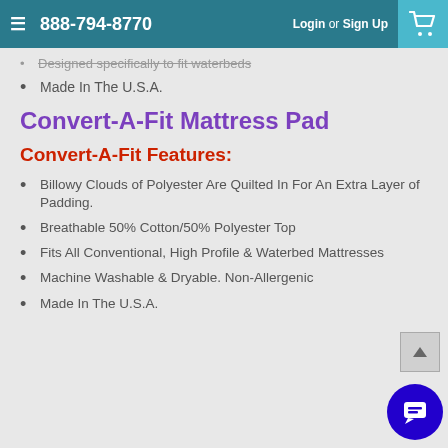888-794-8770   Login or Sign Up
Designed specifically to fit waterbeds
Made In The U.S.A.
Convert-A-Fit Mattress Pad
Convert-A-Fit Features:
Billowy Clouds of Polyester Are Quilted In For An Extra Layer of Padding.
Breathable 50% Cotton/50% Polyester Top
Fits All Conventional, High Profile & Waterbed Mattresses
Machine Washable & Dryable. Non-Allergenic
Made In The U.S.A.